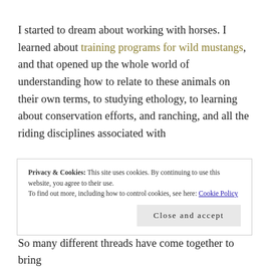I started to dream about working with horses. I learned about training programs for wild mustangs, and that opened up the whole world of understanding how to relate to these animals on their own terms, to studying ethology, to learning about conservation efforts, and ranching, and all the riding disciplines associated with
Privacy & Cookies: This site uses cookies. By continuing to use this website, you agree to their use.
To find out more, including how to control cookies, see here: Cookie Policy
Close and accept
So many different threads have come together to bring